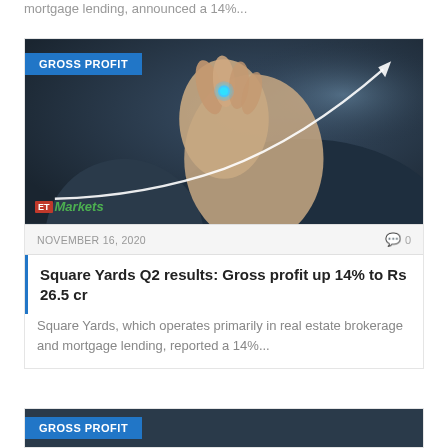mortgage lending, announced a 14%...
[Figure (photo): Photo of a hand holding a marker/pen drawing an upward-curving growth chart line on dark background, with ET Markets logo overlay and GROSS PROFIT badge]
NOVEMBER 16, 2020   0
Square Yards Q2 results: Gross profit up 14% to Rs 26.5 cr
Square Yards, which operates primarily in real estate brokerage and mortgage lending, reported a 14%...
[Figure (photo): Partial view of another GROSS PROFIT card image at bottom of page]